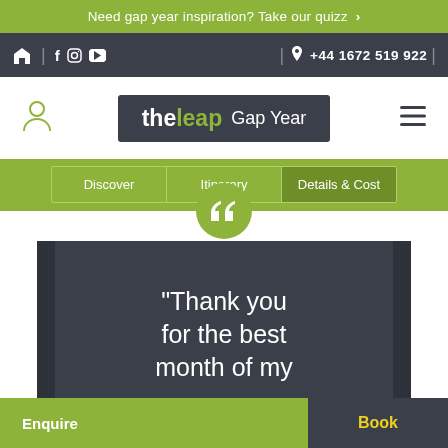Need gap year inspiration? Take our quizz  >
🏠 | f  ⊙  ▶  |  📞 +44 1672 519 922 |
[Figure (logo): theLeap Gap Year logo in dark box with user icon left and hamburger menu right]
Discover  |  Itinerary  |  Details & Cost
"Thank you for the best month of my